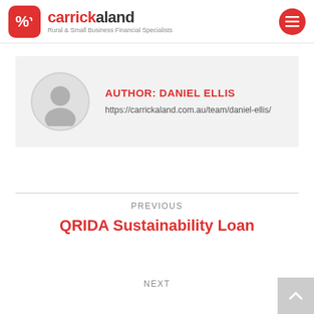[Figure (logo): Carrickaland logo with red rounded square icon showing a percent sign, brand name 'carrickaland' in bold, tagline 'Rural & Small Business Financial Specialists']
[Figure (infographic): Author card with circular avatar placeholder icon and text 'AUTHOR: DANIEL ELLIS' with URL https://carrickaland.com.au/team/daniel-ellis/]
PREVIOUS
QRIDA Sustainability Loan
NEXT